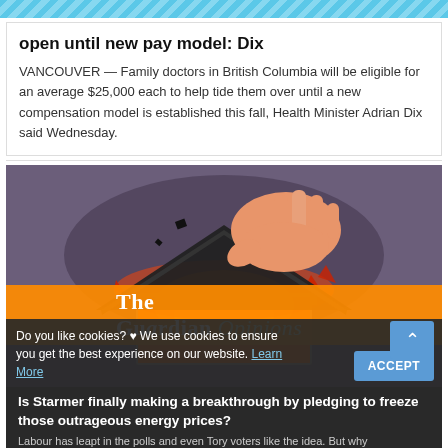[decorative stripe header]
open until new pay model: Dix
VANCOUVER — Family doctors in British Columbia will be eligible for an average $25,000 each to help tide them over until a new compensation model is established this fall, Health Minister Adrian Dix said Wednesday.
[Figure (illustration): Illustration of a hand lifting the roof off a house with orange glowing fire inside, on a purple/grey background. Guardian Opinions branding overlay in orange.]
Do you like cookies? ♥ We use cookies to ensure you get the best experience on our website. Learn More
Is Starmer finally making a breakthrough by pledging to freeze those outrageous energy prices?
Labour has leapt in the polls and even Tory voters like the idea. But why